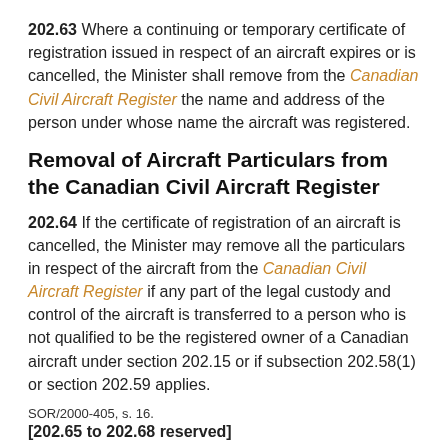202.63 Where a continuing or temporary certificate of registration issued in respect of an aircraft expires or is cancelled, the Minister shall remove from the Canadian Civil Aircraft Register the name and address of the person under whose name the aircraft was registered.
Removal of Aircraft Particulars from the Canadian Civil Aircraft Register
202.64 If the certificate of registration of an aircraft is cancelled, the Minister may remove all the particulars in respect of the aircraft from the Canadian Civil Aircraft Register if any part of the legal custody and control of the aircraft is transferred to a person who is not qualified to be the registered owner of a Canadian aircraft under section 202.15 or if subsection 202.58(1) or section 202.59 applies.
SOR/2000-405, s. 16.
[202.65 to 202.68 reserved]